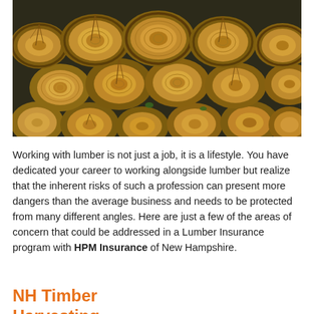[Figure (photo): Stacked cut logs showing cross-sections of lumber, photographed from above at close range. Logs are tan/brown with visible rings and bark edges.]
Working with lumber is not just a job, it is a lifestyle. You have dedicated your career to working alongside lumber but realize that the inherent risks of such a profession can present more dangers than the average business and needs to be protected from many different angles. Here are just a few of the areas of concern that could be addressed in a Lumber Insurance program with HPM Insurance of New Hampshire.
NH Timber Harvesting